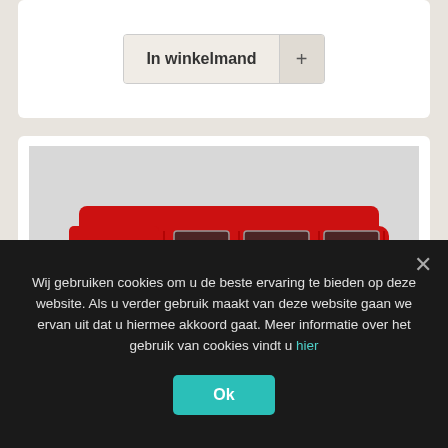[Figure (other): Button with text 'In winkelmand' and a '+' icon, styled as a shopping cart button]
[Figure (photo): A red VW Volkswagen T2 Bus model car (die-cast scale model) photographed against a light grey/white background. The model shows the classic front face of the T2 van with round headlights, VW logo, and red body.]
Wij gebruiken cookies om u de beste ervaring te bieden op deze website. Als u verder gebruik maakt van deze website gaan we ervan uit dat u hiermee akkoord gaat. Meer informatie over het gebruik van cookies vindt u hier